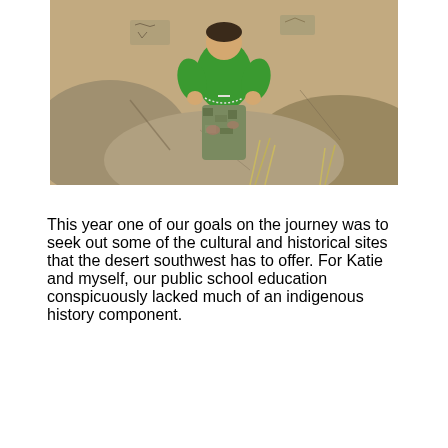[Figure (photo): A child wearing a bright green puffer jacket and camouflage pants sits among large desert rocks, likely at a petroglyph or archaeological site in the desert southwest. The child holds something in their hands and is surrounded by dry grass and rocky terrain.]
This year one of our goals on the journey was to seek out some of the cultural and historical sites that the desert southwest has to offer. For Katie and myself, our public school education conspicuously lacked much of an indigenous history component.